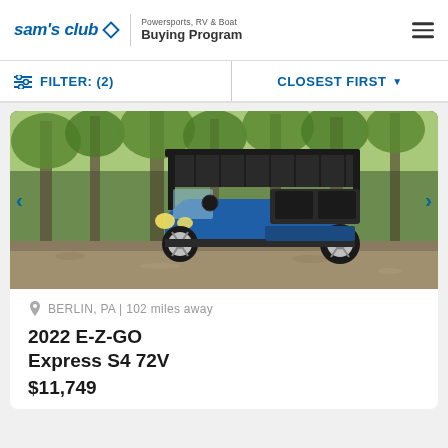sam's club ◇ | Powersports, RV & Boat Buying Program
FILTER: (2)  |  CLOSEST FIRST
[Figure (photo): Blue E-Z-GO golf cart parked on a gravel path surrounded by green trees in a wooded area]
BERLIN, PA | 102 miles away
2022 E-Z-GO Express S4 72V
$11,749